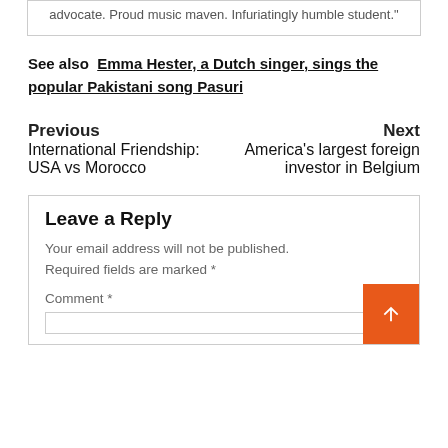advocate. Proud music maven. Infuriatingly humble student."
See also  Emma Hester, a Dutch singer, sings the popular Pakistani song Pasuri
Previous
International Friendship: USA vs Morocco
Next
America's largest foreign investor in Belgium
Leave a Reply
Your email address will not be published. Required fields are marked *
Comment *